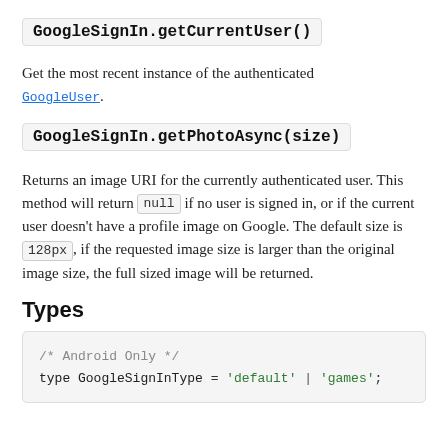GoogleSignIn.getCurrentUser()
Get the most recent instance of the authenticated GoogleUser.
GoogleSignIn.getPhotoAsync(size)
Returns an image URI for the currently authenticated user. This method will return null if no user is signed in, or if the current user doesn't have a profile image on Google. The default size is 128px, if the requested image size is larger than the original image size, the full sized image will be returned.
Types
/* Android Only */
type GoogleSignInType = 'default' | 'games';